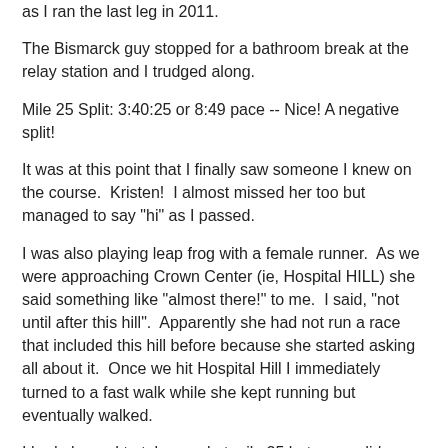as I ran the last leg in 2011.
The Bismarck guy stopped for a bathroom break at the relay station and I trudged along.
Mile 25 Split: 3:40:25 or 8:49 pace -- Nice! A negative split!
It was at this point that I finally saw someone I knew on the course.  Kristen!  I almost missed her too but managed to say "hi" as I passed.
I was also playing leap frog with a female runner.  As we were approaching Crown Center (ie, Hospital HILL) she said something like "almost there!" to me.  I said, "not until after this hill".  Apparently she had not run a race that included this hill before because she started asking all about it.  Once we hit Hospital Hill I immediately turned to a fast walk while she kept running but eventually walked.
I had planned to take a gel at mile 25 but never did.
Miles 28 - 30